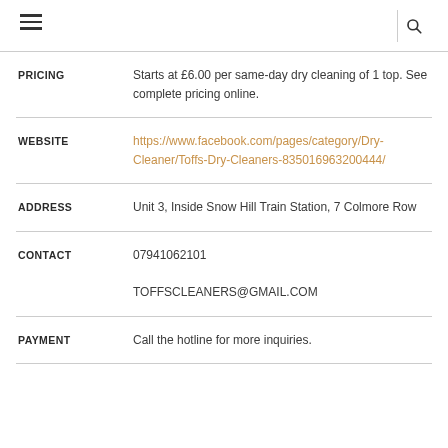| PRICING | Starts at £6.00 per same-day dry cleaning of 1 top. See complete pricing online. |
| WEBSITE | https://www.facebook.com/pages/category/Dry-Cleaner/Toffs-Dry-Cleaners-835016963200444/ |
| ADDRESS | Unit 3, Inside Snow Hill Train Station, 7 Colmore Row |
| CONTACT | 07941062101

TOFFSCLEANERS@GMAIL.COM |
| PAYMENT | Call the hotline for more inquiries. |